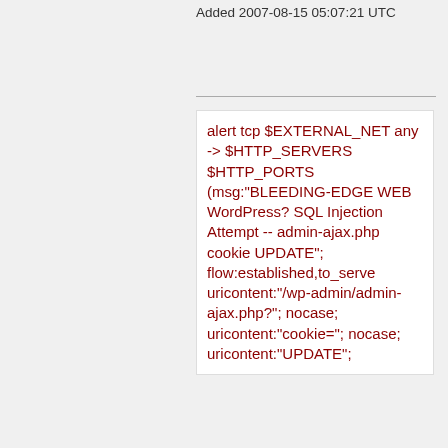Added 2007-08-15 05:07:21 UTC
alert tcp $EXTERNAL_NET any -> $HTTP_SERVERS $HTTP_PORTS (msg:"BLEEDING-EDGE WEB WordPress? SQL Injection Attempt -- admin-ajax.php cookie UPDATE"; flow:established,to_server; uricontent:"/wp-admin/admin-ajax.php?"; nocase; uricontent:"cookie="; nocase; uricontent:"UPDATE";